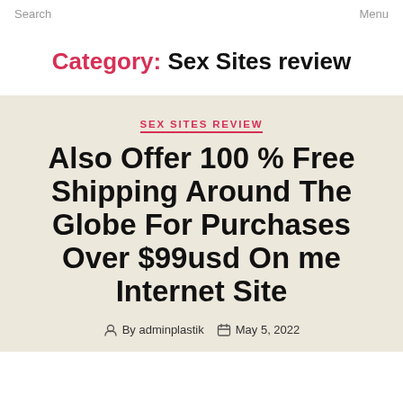Search   Menu
Category: Sex Sites review
SEX SITES REVIEW
Also Offer 100 % Free Shipping Around The Globe For Purchases Over $99usd On me Internet Site
By adminplastik   May 5, 2022